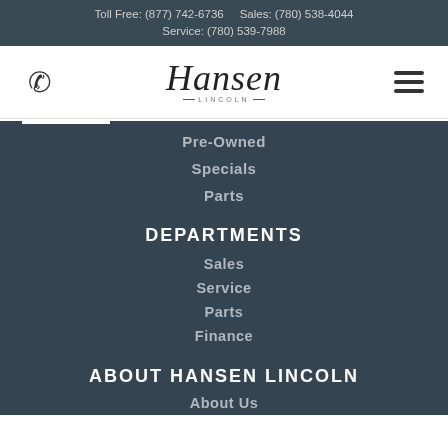Toll Free: (877) 742-6736   Sales: (780) 538-4044
Service: (780) 539-7988
[Figure (logo): Hansen Lincoln dealership logo with script Hansen text and Lincoln wordmark, phone icon on left, hamburger menu icon on right]
Pre-Owned
Specials
Parts
DEPARTMENTS
Sales
Service
Parts
Finance
ABOUT HANSEN LINCOLN
About Us